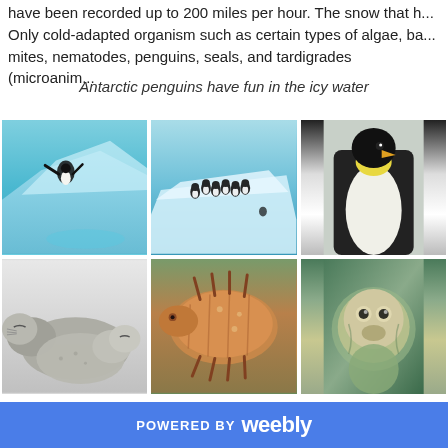have been recorded up to 200 miles per hour. The snow that h... Only cold-adapted organism such as certain types of algae, ba... mites, nematodes, penguins, seals, and tardigrades (microanim...
Antarctic penguins have fun in the icy water
[Figure (photo): A penguin leaping off an icy glacier into blue water]
[Figure (photo): A group of penguins standing on an ice floe in blue water]
[Figure (photo): Close-up of an emperor penguin, yellow and black coloring]
[Figure (photo): Two seals resting together on white surface]
[Figure (photo): Close-up microscope photo of a tardigrade (water bear), brown/orange colored]
[Figure (photo): Close-up of a nematode or similar organism against green/blue background]
POWERED BY weebly